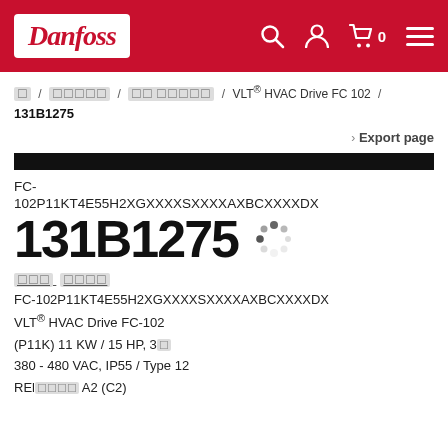[Figure (logo): Danfoss logo in white on red background]
Danfoss website header with search, user, cart and menu icons
☐ / ☐☐☐☐☐ / ☐☐ ☐☐☐☐☐ / VLT® HVAC Drive FC 102 / 131B1275
› Export page
FC-102P11KT4E55H2XGXXXXSXXXXAXBCXXXXDX
131B1275
☐☐☐ ☐☐☐☐
FC-102P11KT4E55H2XGXXXXSXXXXAXBCXXXXDX
VLT® HVAC Drive FC-102
(P11K) 11 KW / 15 HP, 3☐
380 - 480 VAC, IP55 / Type 12
REl☐☐☐☐ A2 (C2)